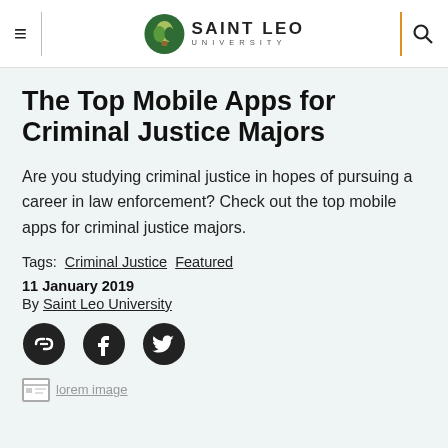Saint Leo University
The Top Mobile Apps for Criminal Justice Majors
Are you studying criminal justice in hopes of pursuing a career in law enforcement? Check out the top mobile apps for criminal justice majors.
Tags: Criminal Justice Featured
11 January 2019
By Saint Leo University
[Figure (illustration): Social sharing icons: link, Facebook, Twitter]
[Figure (photo): Small image placeholder at bottom of page]